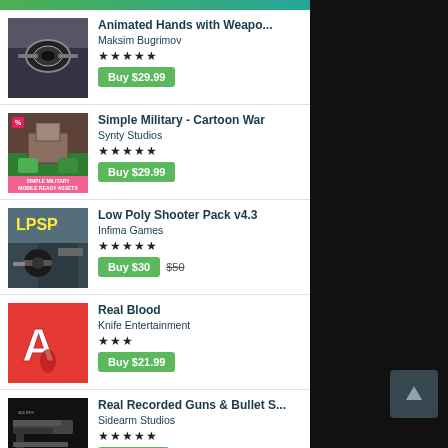Animated Hands with Weaopo... | Maksim Bugrimov | ★★★★★ | Buy $29.99
Simple Military - Cartoon War | Synty Studios | ★★★★★ | Buy $29.99
Low Poly Shooter Pack v4.3 | Infima Games | ★★★★★ | Buy $30  $50
Real Blood | Knife Entertainment | ★★★ | Buy $21.99
Real Recorded Guns & Bullet S... | Sidearm Studios | ★★★★★ | Buy $9.99
HQ FPS Weapons | Polymind Games